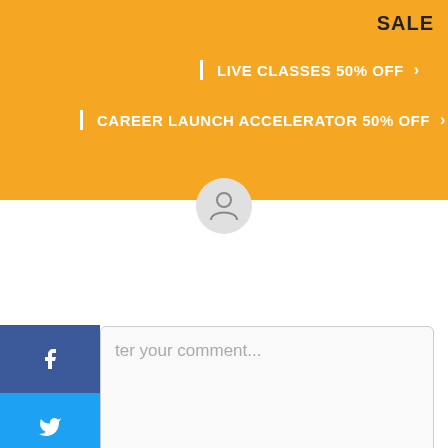[Figure (screenshot): Orange promotional banner with SALE text, showing LIVE CLASSES 50% OFF and CAREER LAUNCH ACCELERATOR 50% OFF with right arrows]
SALE
| LIVE CLASSES 50% OFF >
| CAREER LAUNCH ACCELERATOR 50% OFF >
[Figure (illustration): User avatar circle icon with person silhouette]
[Figure (infographic): Social sharing sidebar with Facebook, Twitter, LinkedIn, and Email buttons]
ter your comment...
ment as a guest:
Name
Email (not displayed publicly)